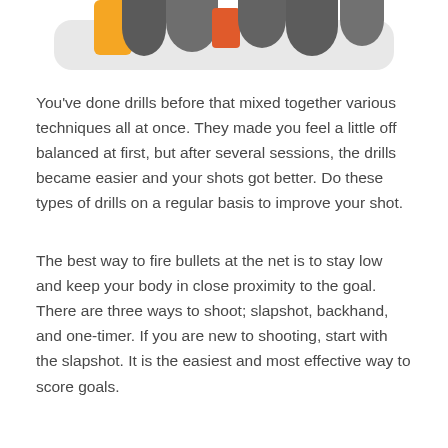[Figure (illustration): Partial illustration of hockey-related equipment or players at the top of the page, cut off — shows orange, grey, and dark colored shapes on a light grey rounded background strip.]
You've done drills before that mixed together various techniques all at once. They made you feel a little off balanced at first, but after several sessions, the drills became easier and your shots got better. Do these types of drills on a regular basis to improve your shot.
The best way to fire bullets at the net is to stay low and keep your body in close proximity to the goal. There are three ways to shoot; slapshot, backhand, and one-timer. If you are new to shooting, start with the slapshot. It is the easiest and most effective way to score goals.